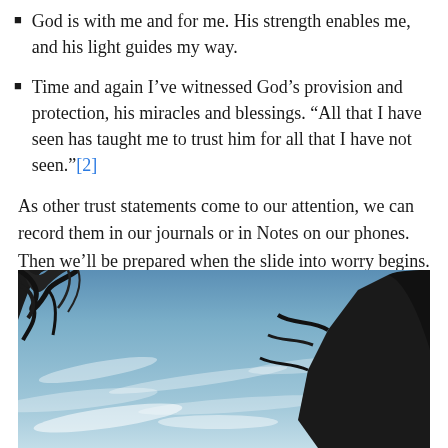God is with me and for me. His strength enables me, and his light guides my way.
Time and again I've witnessed God's provision and protection, his miracles and blessings. “All that I have seen has taught me to trust him for all that I have not seen.”[2]
As other trust statements come to our attention, we can record them in our journals or in Notes on our phones. Then we’ll be prepared when the slide into worry begins.
[Figure (photo): Photograph of a blue sky with wispy clouds and dark tree silhouettes at the top and right edges.]